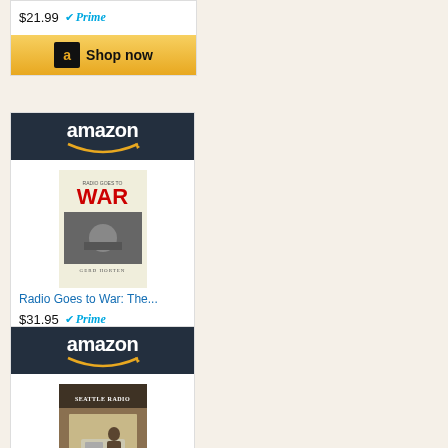[Figure (other): Partial Amazon product card showing price $21.99 with Prime badge and Shop now button]
[Figure (other): Amazon product card for 'Radio Goes to War: The...' priced at $31.95 with Prime badge and Shop now button]
[Figure (other): Amazon product card for Seattle Radio book with Shop now button (partial, bottom cut off)]